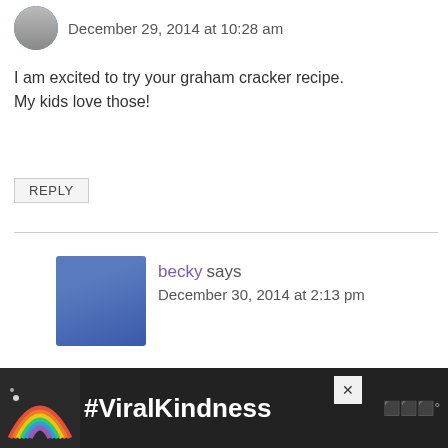December 29, 2014 at 10:28 am
I am excited to try your graham cracker recipe. My kids love those!
REPLY
becky says
December 30, 2014 at 2:13 pm
Thanks Taralyn! They will love it!
REPLY
[Figure (infographic): #ViralKindness advertisement banner with rainbow illustration]
[Figure (other): Floating action buttons: heart (teal) with count 1, and share button]